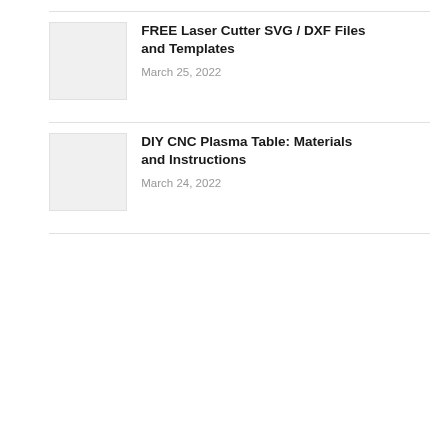[Figure (other): Thumbnail placeholder image for FREE Laser Cutter SVG/DXF Files article]
FREE Laser Cutter SVG / DXF Files and Templates
March 25, 2022
[Figure (other): Thumbnail placeholder image for DIY CNC Plasma Table article]
DIY CNC Plasma Table: Materials and Instructions
March 24, 2022